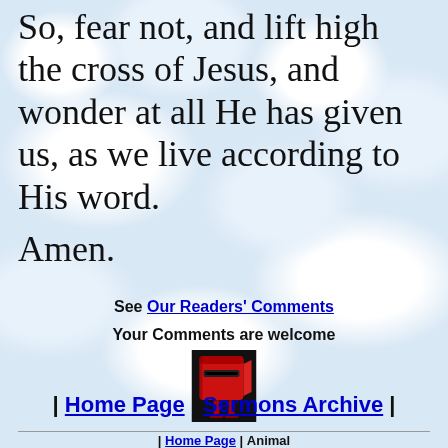So, fear not, and lift high the cross of Jesus, and wonder at all He has given us, as we live according to His word.
Amen.
See Our Readers' Comments
Your Comments are welcome
[Figure (illustration): Red mailbox/post box illustration]
| Home Page | Sermons Archive |
| Home Page | Animal